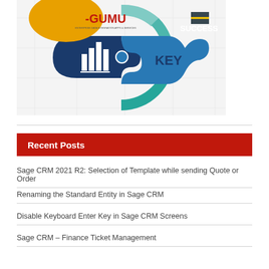[Figure (infographic): GUMU logo infographic showing puzzle pieces with 'KEY' and 'SUCCESS' labels, a bar chart icon, a computer icon, on a white background with hexagonal pattern.]
Recent Posts
Sage CRM 2021 R2: Selection of Template while sending Quote or Order
Renaming the Standard Entity in Sage CRM
Disable Keyboard Enter Key in Sage CRM Screens
Sage CRM – Finance Ticket Management